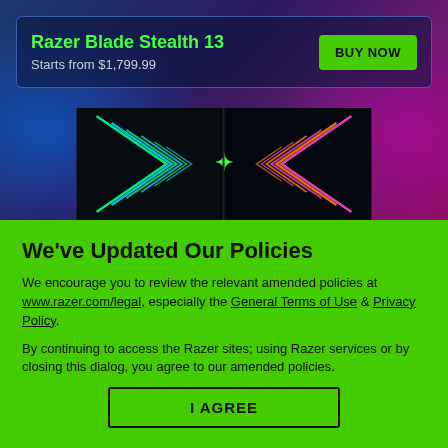[Figure (screenshot): Razer gaming laptop advertisement banner with neon blue and pink glowing chevron arrows on dark background, with Razer logo in center]
We've Updated Our Policies
We encourage you to review the relevant amended policies at www.razer.com/legal, especially the General Terms of Use & Privacy Policy.
By continuing to access the Razer sites; using Razer services or by closing this dialog, you agree to our amended policies.
I AGREE